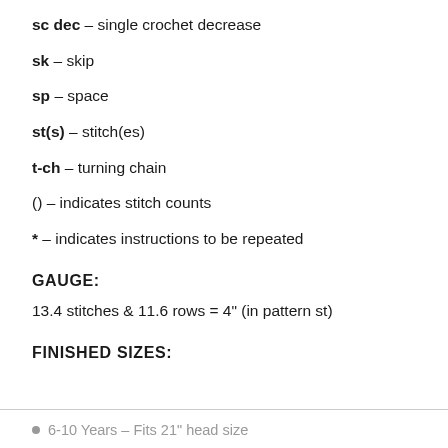sc dec – single crochet decrease
sk – skip
sp – space
st(s) – stitch(es)
t-ch – turning chain
() – indicates stitch counts
* – indicates instructions to be repeated
GAUGE:
13.4 stitches & 11.6 rows = 4" (in pattern st)
FINISHED SIZES:
6-10 Years – Fits 21" head size